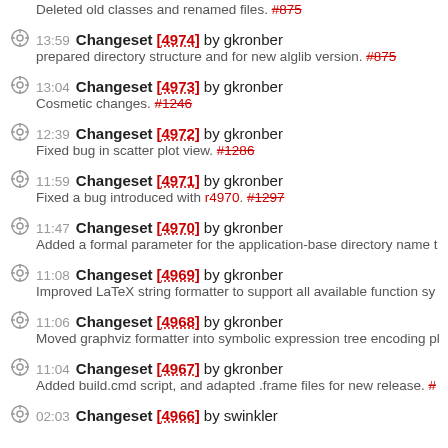Deleted old classes and renamed files. #875
13:59 Changeset [4974] by gkronber - prepared directory structure and for new alglib version. #875
13:04 Changeset [4973] by gkronber - Cosmetic changes. #1246
12:39 Changeset [4972] by gkronber - Fixed bug in scatter plot view. #1286
11:59 Changeset [4971] by gkronber - Fixed a bug introduced with r4970. #1297
11:47 Changeset [4970] by gkronber - Added a formal parameter for the application-base directory name t
11:08 Changeset [4969] by gkronber - Improved LaTeX string formatter to support all available function sy
11:06 Changeset [4968] by gkronber - Moved graphviz formatter into symbolic expression tree encoding pl
11:04 Changeset [4967] by gkronber - Added build.cmd script, and adapted .frame files for new release. #
02:03 Changeset [4966] by swinkler